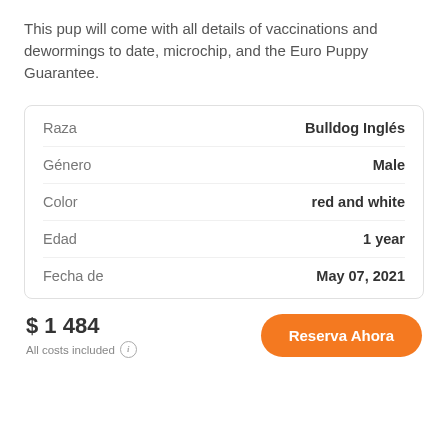This pup will come with all details of vaccinations and dewormings to date, microchip, and the Euro Puppy Guarantee.
| Label | Value |
| --- | --- |
| Raza | Bulldog Inglés |
| Género | Male |
| Color | red and white |
| Edad | 1 year |
| Fecha de | May 07, 2021 |
$ 1 484
All costs included
Reserva Ahora